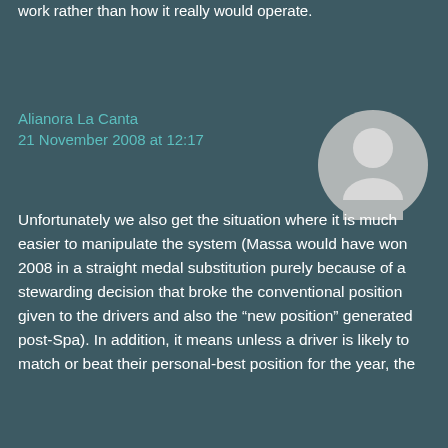work rather than how it really would operate.
Alianora La Canta
21 November 2008 at 12:17
[Figure (illustration): Default user avatar - grey circle with white silhouette of a person]
Unfortunately we also get the situation where it is much easier to manipulate the system (Massa would have won 2008 in a straight medal substitution purely because of a stewarding decision that broke the conventional position given to the drivers and also the “new position” generated post-Spa). In addition, it means unless a driver is likely to match or beat their personal-best position for the year, the